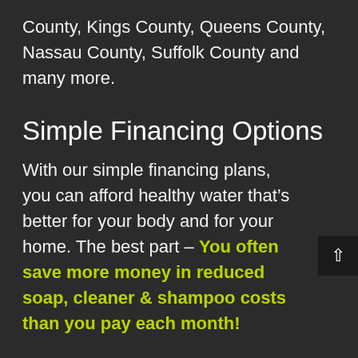County, Kings County, Queens County, Nassau County, Suffolk County and many more.
Simple Financing Options
With our simple financing plans, you can afford healthy water that's better for your body and for your home. The best part – You often save more money in reduced soap, cleaner & shampoo costs than you pay each month!
Water Quality Reports